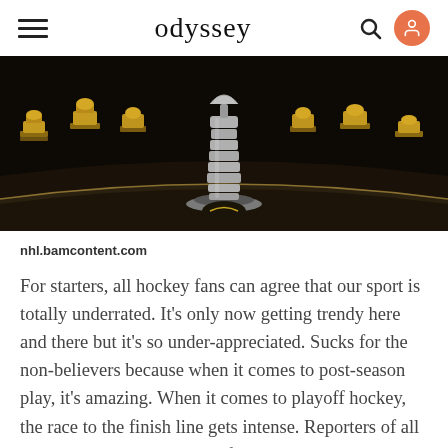odyssey
[Figure (photo): Stanley Cup trophy displayed in a dark trophy case room surrounded by golden trophies on shelves]
nhl.bamcontent.com
For starters, all hockey fans can agree that our sport is totally underrated. It's only now getting trendy here and there but it's so under-appreciated. Sucks for the non-believers because when it comes to post-season play, it's amazing. When it comes to playoff hockey, the race to the finish line gets intense. Reporters of all sorts blow up social media, fans go bonkers, and teams go at it like